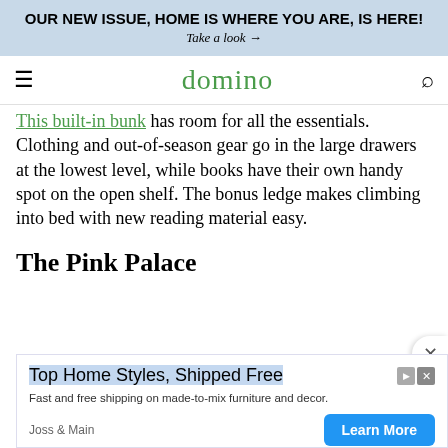OUR NEW ISSUE, HOME IS WHERE YOU ARE, IS HERE!
Take a look →
domino
This built-in bunk has room for all the essentials. Clothing and out-of-season gear go in the large drawers at the lowest level, while books have their own handy spot on the open shelf. The bonus ledge makes climbing into bed with new reading material easy.
The Pink Palace
[Figure (screenshot): Advertisement: Top Home Styles, Shipped Free - Joss & Main, with Learn More button]